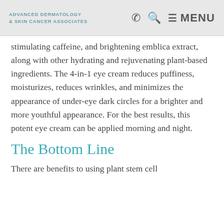Advanced Dermatology & Skin Cancer Associates
stimulating caffeine, and brightening emblica extract, along with other hydrating and rejuvenating plant-based ingredients. The 4-in-1 eye cream reduces puffiness, moisturizes, reduces wrinkles, and minimizes the appearance of under-eye dark circles for a brighter and more youthful appearance. For the best results, this potent eye cream can be applied morning and night.
The Bottom Line
There are benefits to using plant stem cell